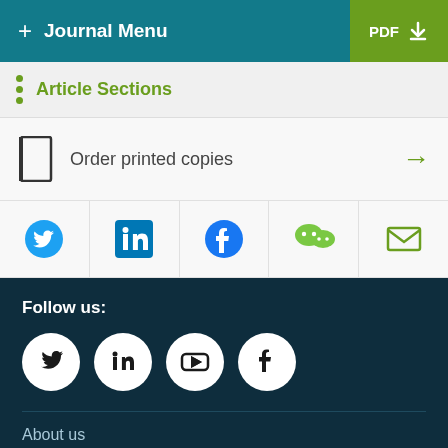+ Journal Menu   PDF ⬇
Article Sections
Order printed copies →
[Figure (infographic): Social sharing icons row: Twitter, LinkedIn, Facebook, WeChat, Email]
Follow us:
[Figure (infographic): Social media circle icons: Twitter, LinkedIn, YouTube, Facebook]
About us
Contact us